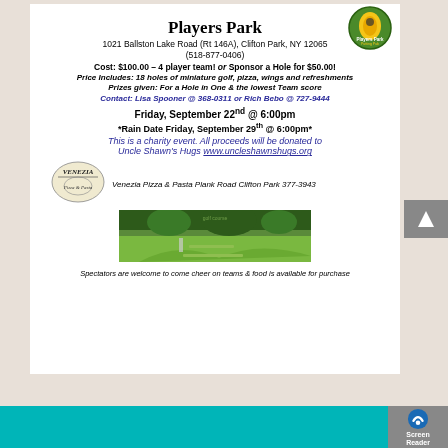[Figure (logo): Players Park Putting Pub logo - circular badge with corn/golf imagery]
Players Park
1021 Ballston Lake Road (Rt 146A), Clifton Park, NY  12065
(518-877-0406)
Cost:  $100.00 – 4 player team!  or Sponsor a Hole for $50.00!
Price Includes:  18 holes of miniature golf, pizza, wings and refreshments
Prizes given:  For a Hole in One & the lowest Team score
Contact:  Lisa Spooner @ 368-0311 or Rich Bebo @ 727-9444
Friday, September 22nd @ 6:00pm
*Rain Date Friday, September 29th @ 6:00pm*
This is a charity event. All proceeds will be donated to Uncle Shawn's Hugs www.uncleshawnshugs.org
[Figure (logo): Venezia Pizza & Pasta logo illustration]
Venezia Pizza & Pasta Plank Road Clifton Park 377-3943
[Figure (photo): Outdoor miniature golf course with green turf, pathways and trees]
Spectators are welcome to come cheer on teams & food is available for purchase